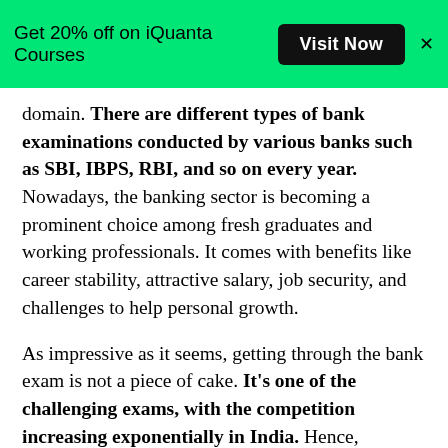Get 20% off on iQuanta Courses  Visit Now  X
domain. There are different types of bank examinations conducted by various banks such as SBI, IBPS, RBI, and so on every year. Nowadays, the banking sector is becoming a prominent choice among fresh graduates and working professionals. It comes with benefits like career stability, attractive salary, job security, and challenges to help personal growth.
As impressive as it seems, getting through the bank exam is not a piece of cake. It's one of the challenging exams, with the competition increasing exponentially in India. Hence, aspirants need to prepare thoroughly to get into a top-notch bank. Therefore, we are here to provide